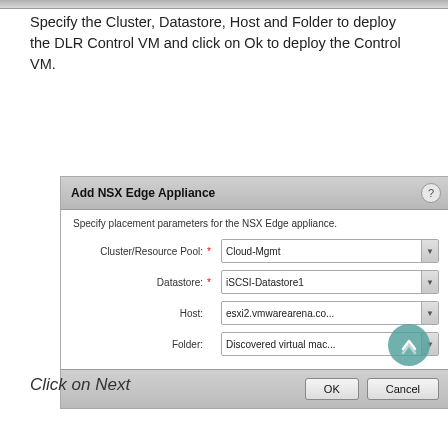Specify the Cluster, Datastore, Host and Folder to deploy the DLR Control VM and click on Ok to deploy the Control VM.
[Figure (screenshot): Add NSX Edge Appliance dialog with fields: Cluster/Resource Pool (Cloud-Mgmt), Datastore (iSCSI-Datastore1), Host (esxi2.vmwarearena.co...), Folder (Discovered virtual mac...), and OK/Cancel buttons]
Click on Next
[Figure (screenshot): New NSX Edge dialog showing steps: 1 Name and description (checked), 2 Settings (checked), 3 Configure deployment (active/highlighted). Right panel shows Configure deployment with Datacenter field set to Cloud-Datacenter.]